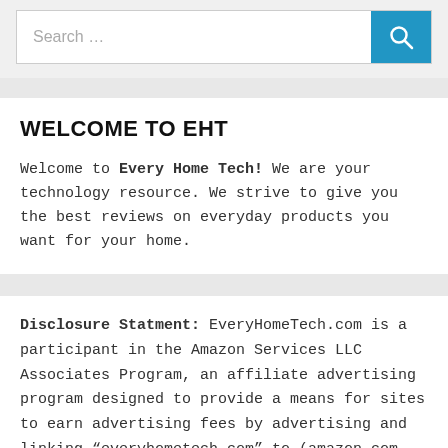Search ...
WELCOME TO EHT
Welcome to Every Home Tech! We are your technology resource. We strive to give you the best reviews on everyday products you want for your home.
Disclosure Statment: EveryHomeTech.com is a participant in the Amazon Services LLC Associates Program, an affiliate advertising program designed to provide a means for sites to earn advertising fees by advertising and linking “everyhometech.com” to (amazon.com, amzn.to) As an Amazon Associate we earn from qualifying purchases. Learn More…